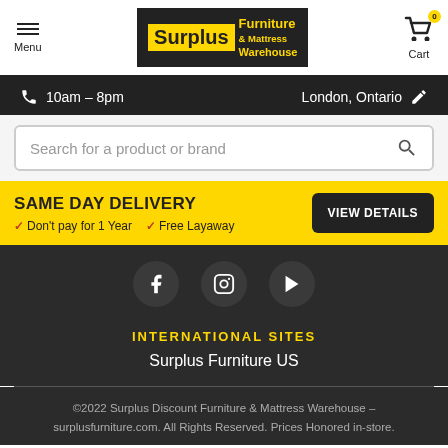Menu | Surplus Furniture & Mattress Warehouse | Cart 0
10am - 8pm | London, Ontario
Search for a product or brand
SAME DAY DELIVERY
Don't pay for 1 Year  Free Layaway
VIEW DETAILS
[Figure (logo): Social media icons: Facebook, Instagram, YouTube]
INTERNATIONAL SITES
Surplus Furniture US
©2022 Surplus Discount Furniture & Mattress Warehouse – surplusfurniture.com. All Rights Reserved. Prices Honored in-store.